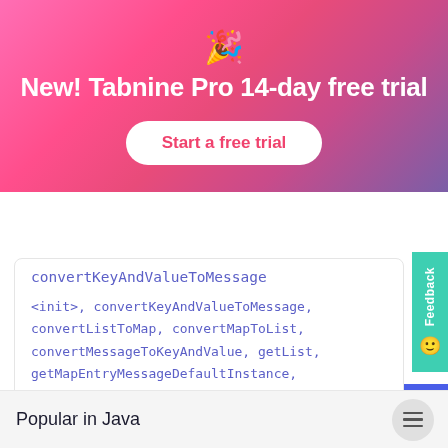[Figure (screenshot): Pink-to-purple gradient promotional banner with party popper emoji]
New! Tabnine Pro 14-day free trial
Start a free trial
[Figure (logo): Tabnine logo with hexagonal icon and wordmark, plus Add Tabnine to your IDE (fre button]
convertKeyAndValueToMessage
<init>, convertKeyAndValueToMessage, convertListToMap, convertMapToList, convertMessageToKeyAndValue, getList, getMapEntryMessageDefaultInstance, getMutableList
Popular in Java